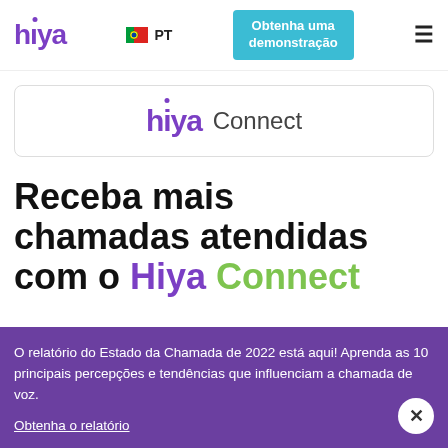hiya | PT | Obtenha uma demonstração | ≡
[Figure (logo): hiya Connect logo inside a bordered card]
Receba mais chamadas atendidas com o Hiya Connect
O relatório do Estado da Chamada de 2022 está aqui! Aprenda as 10 principais percepções e tendências que influenciam a chamada de voz.
Obtenha o relatório